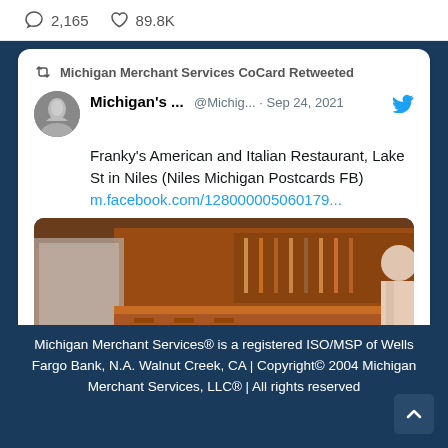2,165   89.8K
Michigan Merchant Services CoCard Retweeted
Michigan's ...  @Michig...  · Sep 24, 2021
Franky's American and Italian Restaurant, Lake St in Niles (Niles Michigan Postcards FB)
m.facebook.com/128000005060179...
[Figure (photo): Interior of Franky's American and Italian Restaurant showing a bar/counter area with wood paneling, shelves with bottles, and a person in white chef attire standing to the right]
Michigan Merchant Services® is a registered ISO/MSP of Wells Fargo Bank, N.A. Walnut Creek, CA | Copyright© 2004 Michigan Merchant Services, LLC® | All rights reserved